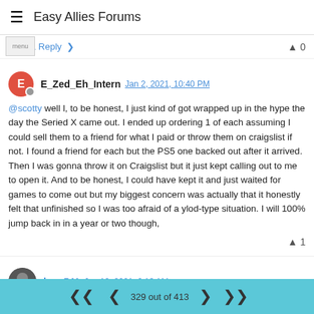Easy Allies Forums
1 Reply >   0
E_Zed_Eh_Intern Jan 2, 2021, 10:40 PM
@scotty well l, to be honest, I just kind of got wrapped up in the hype the day the Seried X came out. I ended up ordering 1 of each assuming I could sell them to a friend for what I paid or throw them on craigslist if not. I found a friend for each but the PS5 one backed out after it arrived. Then I was gonna throw it on Craigslist but it just kept calling out to me to open it. And to be honest, I could have kept it and just waited for games to come out but my biggest concern was actually that it honestly felt that unfinished so I was too afraid of a ylod-type situation. I will 100% jump back in in a year or two though,
bam541 Jan 10, 2021, 6:13 AM
329 out of 413